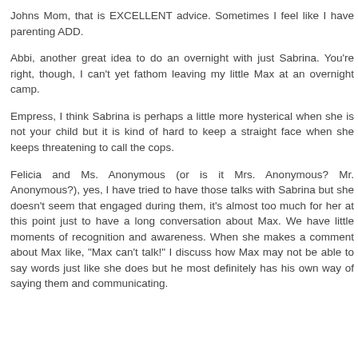Johns Mom, that is EXCELLENT advice. Sometimes I feel like I have parenting ADD.
Abbi, another great idea to do an overnight with just Sabrina. You're right, though, I can't yet fathom leaving my little Max at an overnight camp.
Empress, I think Sabrina is perhaps a little more hysterical when she is not your child but it is kind of hard to keep a straight face when she keeps threatening to call the cops.
Felicia and Ms. Anonymous (or is it Mrs. Anonymous? Mr. Anonymous?), yes, I have tried to have those talks with Sabrina but she doesn't seem that engaged during them, it's almost too much for her at this point just to have a long conversation about Max. We have little moments of recognition and awareness. When she makes a comment about Max like, "Max can't talk!" I discuss how Max may not be able to say words just like she does but he most definitely has his own way of saying them and communicating.